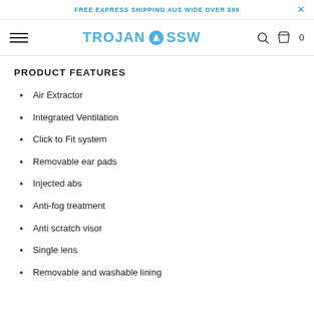FREE EXPRESS SHIPPING AUS WIDE OVER $99
[Figure (logo): TROJAN SSW logo with mountain icon in blue]
PRODUCT FEATURES
Air Extractor
Integrated Ventilation
Click to Fit system
Removable ear pads
Injected abs
Anti-fog treatment
Anti scratch visor
Single lens
Removable and washable lining